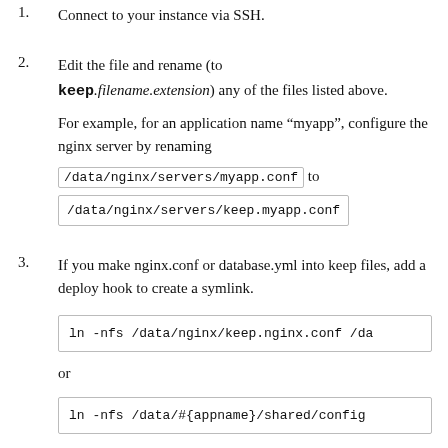1. Connect to your instance via SSH.
2. Edit the file and rename (to keep.filename.extension) any of the files listed above.

For example, for an application name “myapp”, configure the nginx server by renaming /data/nginx/servers/myapp.conf to /data/nginx/servers/keep.myapp.conf
3. If you make nginx.conf or database.yml into keep files, add a deploy hook to create a symlink.

ln -nfs /data/nginx/keep.nginx.conf /da

or

ln -nfs /data/#{appname}/shared/config